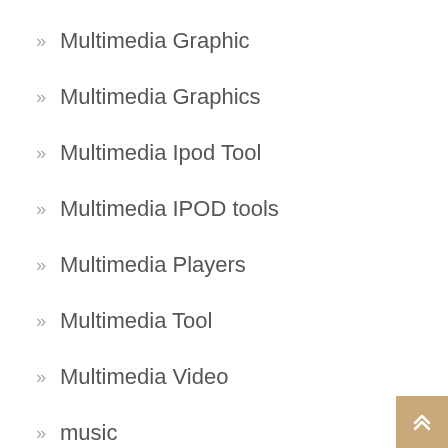Multimedia Graphic
Multimedia Graphics
Multimedia Ipod Tool
Multimedia IPOD tools
Multimedia Players
Multimedia Tool
Multimedia Video
music
my-movie